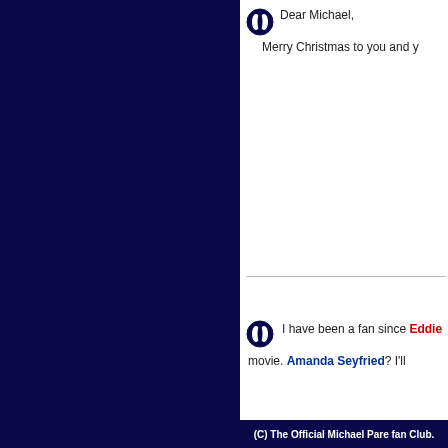Dear Michael,

Merry Christmas to you and y...
I have been a fan since Eddie... movie. Amanda Seyfried? I'll...
46.45.44.
(C) The Official Michael Pare fan Club.